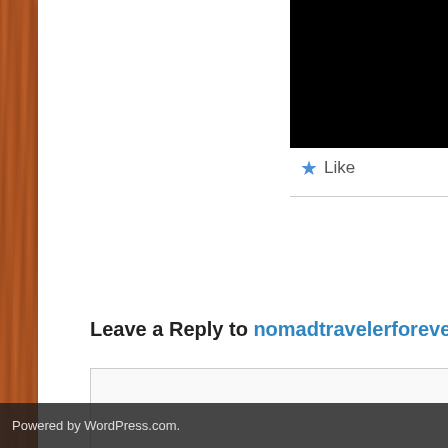[Figure (photo): Black image/photo region at top right of white card]
★ Like
Leave a Reply to nomadtravelerforever Canc
Enter your comment here...
Powered by WordPress.com.